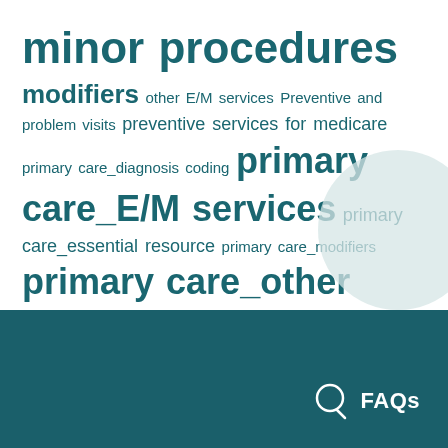minor procedures modifiers other E/M services Preventive and problem visits preventive services for medicare primary care_diagnosis coding primary care_E/M services primary care_essential resource primary care_modifiers primary care_other E/M services primary care_preventive services primary care_procedures remote physiologic monitoring screening and counseling for behavioral conditions teaching physician rules telehealth
[Figure (illustration): Light teal decorative circle in lower right area of white section]
FAQs